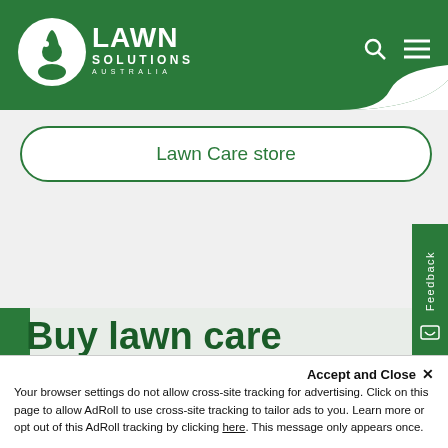Lawn Solutions Australia — navigation header with logo, search, and menu icons
Lawn Care store
Buy lawn care products
[Figure (screenshot): Partial product card image showing a Lawn Solutions branded product with a gold/tan surface visible at the bottom of the page]
Accept and Close ✕
Your browser settings do not allow cross-site tracking for advertising. Click on this page to allow AdRoll to use cross-site tracking to tailor ads to you. Learn more or opt out of this AdRoll tracking by clicking here. This message only appears once.